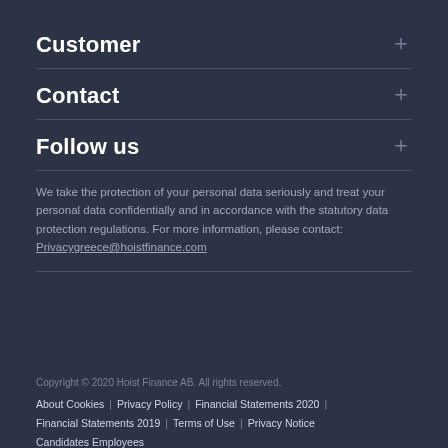Customer
Contact
Follow us
We take the protection of your personal data seriously and treat your personal data confidentially and in accordance with the statutory data protection regulations. For more information, please contact: Privacygreece@hoistfinance.com
Copyright © 2020 Hoist Finance AB. All rights reserved. About Cookies | Privacy Policy | Financial Statements 2020 | Financial Statements 2019 | Terms of Use | Privacy Notice Candidates Employees